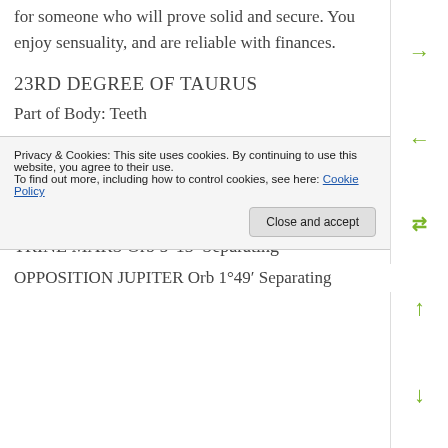for someone who will prove solid and secure. You enjoy sensuality, and are reliable with finances.
23RD DEGREE OF TAURUS
Part of Body: Teeth
Sabian Symbol: A jewellery shop filled with the most magnificent jewels.
ASPECTS OF VENUS
TRINE MARS Orb 5°13′ Separating
You have a talent for relating to other people. You
Privacy & Cookies: This site uses cookies. By continuing to use this website, you agree to their use. To find out more, including how to control cookies, see here: Cookie Policy
OPPOSITION JUPITER Orb 1°49′ Separating